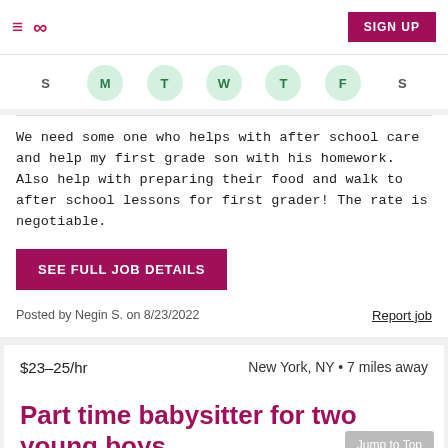≡  ∞  SIGN UP
[Figure (other): Days of the week row with circles: S M T W T F S, with M T W T F highlighted in green circles]
We need some one who helps with after school care and help my first grade son with his homework. Also help with preparing their food and walk to after school lessons for first grader! The rate is negotiable.
SEE FULL JOB DETAILS
Posted by Negin S. on 8/23/2022
Report job
$23–25/hr   New York, NY • 7 miles away
Part time babysitter for two young boys